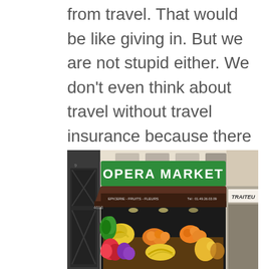from travel. That would be like giving in. But we are not stupid either. We don't even think about travel without travel insurance because there are other situations where you will need someone to have your back.
[Figure (photo): Street photo of Opera Market storefront in Paris, showing a green sign reading 'OPERA MARKET', an awning with text 'EPICERIE - FRUITS - FLEURS Tel: 01.49.26.03.09', and a colorful display of fresh fruits and flowers. To the right is a building with 'TRAITEU' visible. A dark door is on the left.]